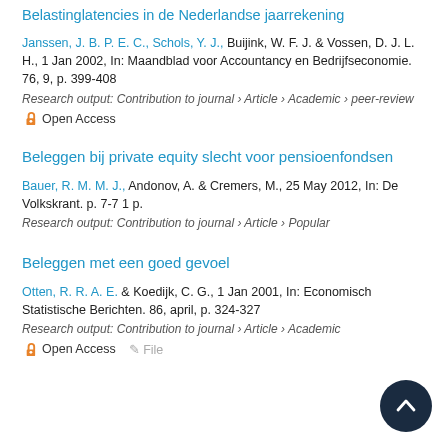Belastinglatencies in de Nederlandse jaarrekening
Janssen, J. B. P. E. C., Schols, Y. J., Buijink, W. F. J. & Vossen, D. J. L. H., 1 Jan 2002, In: Maandblad voor Accountancy en Bedrijfseconomie. 76, 9, p. 399-408
Research output: Contribution to journal › Article › Academic › peer-review
Open Access
Beleggen bij private equity slecht voor pensioenfondsen
Bauer, R. M. M. J., Andonov, A. & Cremers, M., 25 May 2012, In: De Volkskrant. p. 7-7 1 p.
Research output: Contribution to journal › Article › Popular
Beleggen met een goed gevoel
Otten, R. R. A. E. & Koedijk, C. G., 1 Jan 2001, In: Economisch Statistische Berichten. 86, april, p. 324-327
Research output: Contribution to journal › Article › Academic
Open Access  File